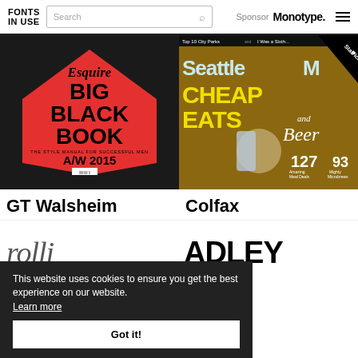FONTS IN USE | Search | Sponsor Monotype.
[Figure (photo): Esquire Big Black Book A/W 2015 magazine cover - red background with diamond shape, bold black text]
GT Walsheim
[Figure (photo): Seattle Magazine cover - Cheap Eats and Beer issue with Staff Pick badge, burger and beer can photo]
Colfax
[Figure (photo): Partial italic text reading 'rolli' and bold text 'ADLEY' visible below cookie banner]
This website uses cookies to ensure you get the best experience on our website. Learn more
Got it!